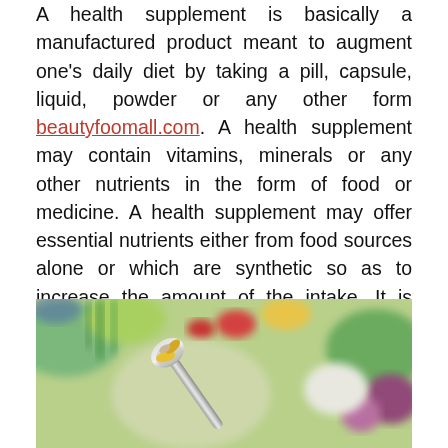A health supplement is basically a manufactured product meant to augment one's daily diet by taking a pill, capsule, liquid, powder or any other form beautyfoomall.com. A health supplement may contain vitamins, minerals or any other nutrients in the form of food or medicine. A health supplement may offer essential nutrients either from food sources alone or which are synthetic so as to increase the amount of the intake. It is usually taken with food or in place of it.
[Figure (photo): A spoon holding vitamins and supplement capsules in front of a colorful blurred background of fresh vegetables including red peppers, green onions, cauliflower, and purple onions at a market.]